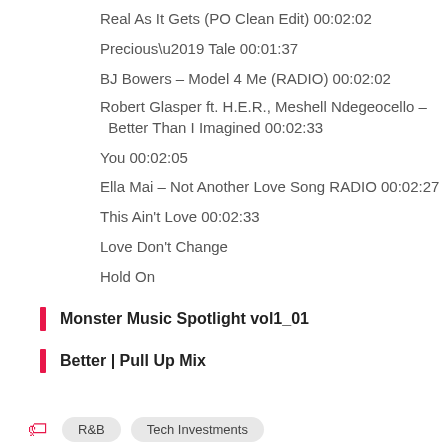Real As It Gets (PO Clean Edit) 00:02:02
Precious’ Tale 00:01:37
BJ Bowers – Model 4 Me (RADIO) 00:02:02
Robert Glasper ft. H.E.R., Meshell Ndegeocello – Better Than I Imagined 00:02:33
You 00:02:05
Ella Mai – Not Another Love Song RADIO 00:02:27
This Ain’t Love 00:02:33
Love Don’t Change
Hold On
Monster Music Spotlight vol1_01
Better | Pull Up Mix
R&B   Tech Investments